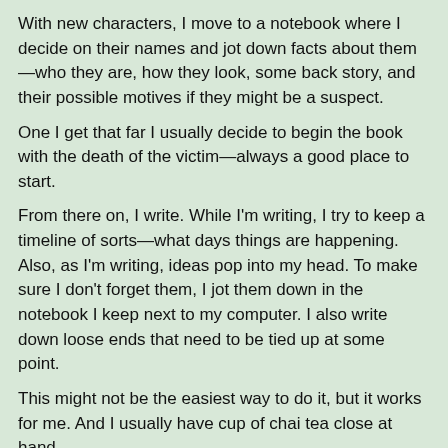With new characters, I move to a notebook where I decide on their names and jot down facts about them—who they are, how they look, some back story, and their possible motives if they might be a suspect.
One I get that far I usually decide to begin the book with the death of the victim—always a good place to start.
From there on, I write. While I'm writing, I try to keep a timeline of sorts—what days things are happening. Also, as I'm writing, ideas pop into my head. To make sure I don't forget them, I jot them down in the notebook I keep next to my computer. I also write down loose ends that need to be tied up at some point.
This might not be the easiest way to do it, but it works for me. And I usually have cup of chai tea close at hand.
Blurb:
Rocky Bluff P.D. is underpaid and understaffed and when two dead bodies turn up, the department is stretched to the limit. The mayor is the first body discovered, the second an older woman
[Figure (illustration): Book cover showing F.M. Meredith name at top in white bold text on a blue/space background, with a red angled text element in lower right]
limit. The mayor is the first body discovered, the second an older woman